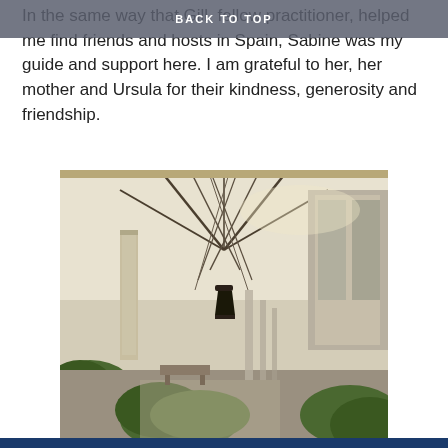BACK TO TOP
In the same way that Gill, fellow practitioner, helped me find friends and hosts in Spain, Sabine was my guide and support here. I am grateful to her, her mother and Ursula for their kindness, generosity and friendship.
[Figure (photo): Interior view of an ornate arcade or loggia featuring Gothic-style vaulted ceilings with ribbed arches, decorated stone columns, hanging lanterns, and green shrubs/hedges in the foreground. The architecture suggests a historic European building, possibly in Italy or Spain.]